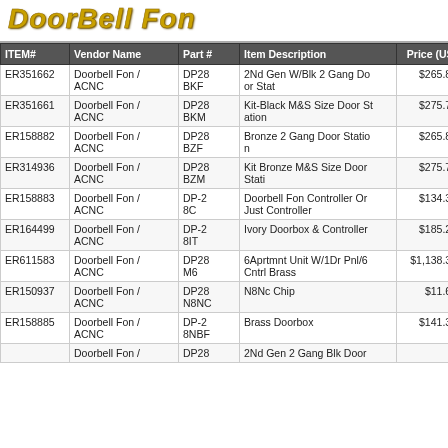[Figure (logo): DoorBell Fon logo with stylized gold italic text]
| ITEM# | Vendor Name | Part # | Item Description | Price (US) | Details |
| --- | --- | --- | --- | --- | --- |
| ER351662 | Doorbell Fon / ACNC | DP28 BKF | 2Nd Gen W/Blk 2 Gang Door Stat | $265.82 | Details |
| ER351661 | Doorbell Fon / ACNC | DP28 BKM | Kit-Black M&S Size Door Station | $275.72 | Details |
| ER158882 | Doorbell Fon / ACNC | DP28 BZF | Bronze 2 Gang Door Station | $265.82 | Details |
| ER314936 | Doorbell Fon / ACNC | DP28 BZM | Kit Bronze M&S Size Door Stati | $275.72 | Details |
| ER158883 | Doorbell Fon / ACNC | DP-28C | Doorbell Fon Controller Or Just Controller | $134.32 | Details |
| ER164499 | Doorbell Fon / ACNC | DP-28IT | Ivory Doorbox & Controller | $185.22 | Details |
| ER611583 | Doorbell Fon / ACNC | DP28 M6 | 6Aprtmnt Unit W/1Dr Pnl/6 Cntrl Brass | $1,138.36 | Details |
| ER150937 | Doorbell Fon / ACNC | DP28 N8NC | N8Nc Chip | $11.65 | Details |
| ER158885 | Doorbell Fon / ACNC | DP-28NBF | Brass Doorbox | $141.39 | Details |
|  | Doorbell Fon / | DP28 | 2Nd Gen 2 Gang Blk Door |  |  |